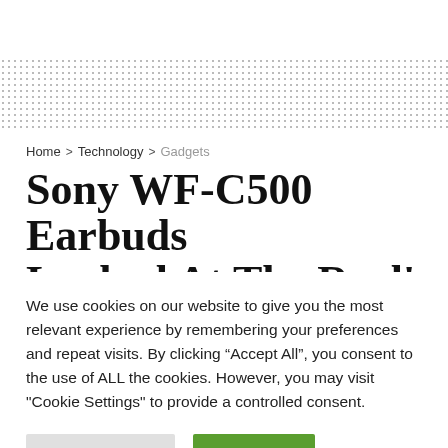Home > Technology > Gadgets
Sony WF-C500 Earbuds
We use cookies on our website to give you the most relevant experience by remembering your preferences and repeat visits. By clicking “Accept All”, you consent to the use of ALL the cookies. However, you may visit "Cookie Settings" to provide a controlled consent.
Cookie Settings | Accept All